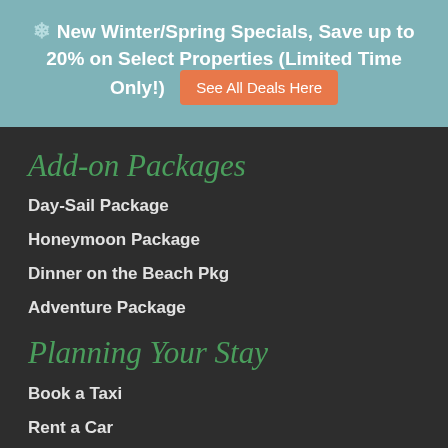❄ New Winter/Spring Specials, Save up to 20% on Select Properties (Limited Time Only!) See All Deals Here
Add-on Packages
Day-Sail Package
Honeymoon Package
Dinner on the Beach Pkg
Adventure Package
Planning Your Stay
Book a Taxi
Rent a Car
Pre-Stock Your Fridge
Hire a Cook/Chef